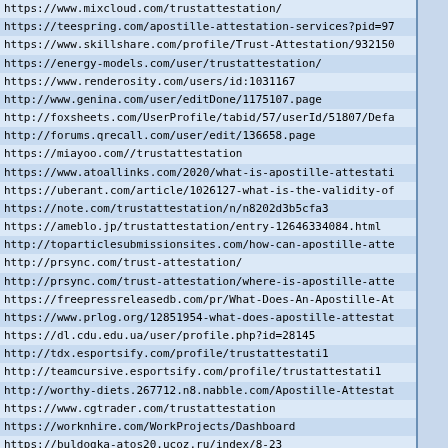| URL |  |  |
| --- | --- | --- |
| https://www.mixcloud.com/trustattestation/ |  |  |
| https://teespring.com/apostille-attestation-services?pid=97 |  |  |
| https://www.skillshare.com/profile/Trust-Attestation/932150 |  |  |
| https://energy-models.com/user/trustattestation/ |  |  |
| https://www.renderosity.com/users/id:1031167 |  |  |
| http://www.genina.com/user/editDone/1175107.page |  |  |
| http://foxsheets.com/UserProfile/tabid/57/userId/51807/Defa |  |  |
| http://forums.qrecall.com/user/edit/136658.page |  |  |
| https://miayoo.com//trustattestation |  |  |
| https://www.atoallinks.com/2020/what-is-apostille-attestati |  |  |
| https://uberant.com/article/1026127-what-is-the-validity-of |  |  |
| https://note.com/trustattestation/n/n8202d3b5cfa3 |  |  |
| https://ameblo.jp/trustattestation/entry-12646334084.html |  |  |
| http://toparticlesubmissionsites.com/how-can-apostille-atte |  |  |
| http://prsync.com/trust-attestation/ |  |  |
| http://prsync.com/trust-attestation/where-is-apostille-atte |  |  |
| https://freepressreleasedb.com/pr/What-Does-An-Apostille-At |  |  |
| https://www.prlog.org/12851954-what-does-apostille-attestat |  |  |
| https://dl.cdu.edu.ua/user/profile.php?id=28145 |  |  |
| http://tdx.esportsify.com/profile/trustattestati1 |  |  |
| http://teamcursive.esportsify.com/profile/trustattestati1 |  |  |
| http://worthy-diets.267712.n8.nabble.com/Apostille-Attestat |  |  |
| https://www.cgtrader.com/trustattestation |  |  |
| https://worknhire.com/WorkProjects/Dashboard |  |  |
| https://buldogka-atos20.ucoz.ru/index/8-23 |  |  |
| https://business2010.ucoz.ru/index/8-31 |  |  |
| https://stemedhub.org/members/11092/profile |  |  |
| http://velopiter.spb.ru/profile/72419-trustattestation/?tab |  |  |
| http://exerius.esportsify.com/profile/trustattestati1 |  |  |
| http://teamdizlown.esportsify.com/profile/trustattestati1 |  |  |